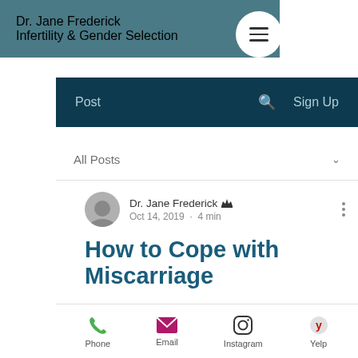Dr. Jane Frederick
Infertility & Gender Selection
Post  Search  Sign Up
All Posts
Dr. Jane Frederick  Oct 14, 2019 · 4 min
How to Cope with Miscarriage
Emotional Healing and Miscarriage
Phone  Email  Instagram  Yelp